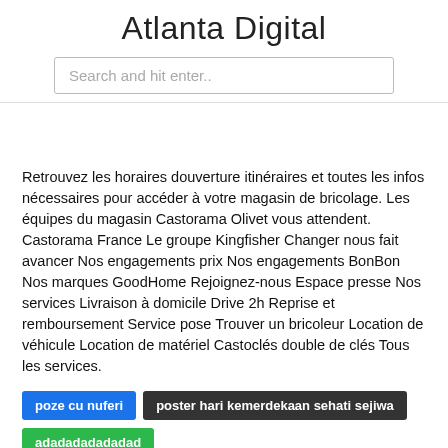Atlanta Digital
Search and hit enter..
Retrouvez les horaires douverture itinéraires et toutes les infos nécessaires pour accéder à votre magasin de bricolage. Les équipes du magasin Castorama Olivet vous attendent. Castorama France Le groupe Kingfisher Changer nous fait avancer Nos engagements prix Nos engagements BonBon Nos marques GoodHome Rejoignez-nous Espace presse Nos services Livraison à domicile Drive 2h Reprise et remboursement Service pose Trouver un bricoleur Location de véhicule Location de matériel Castoclés double de clés Tous les services.
poze cu nuferi
poster hari kemerdekaan sehati sejiwa